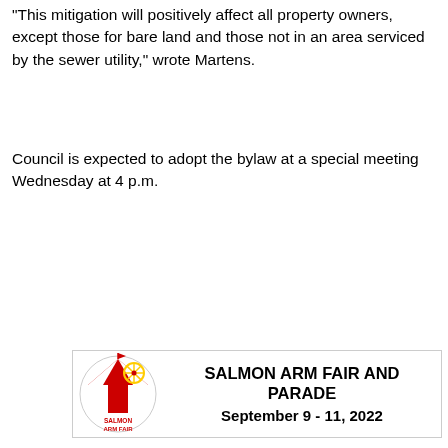“This mitigation will positively affect all property owners, except those for bare land and those not in an area serviced by the sewer utility,” wrote Martens.
Council is expected to adopt the bylaw at a special meeting Wednesday at 4 p.m.
[Figure (infographic): Advertisement banner for Salmon Arm Fair and Parade, September 9-11, 2022, with a circular fair logo on the left and bold text on the right.]